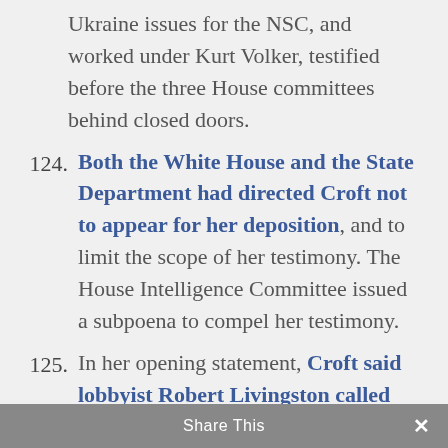Ukraine issues for the NSC, and worked under Kurt Volker, testified before the three House committees behind closed doors.
124. Both the White House and the State Department had directed Croft not to appear for her deposition, and to limit the scope of her testimony. The House Intelligence Committee issued a subpoena to compel her testimony.
125. In her opening statement, Croft said lobbyist Robert Livingston called her repeatedly, and “told me that Ambassador Yovanovitch should be fired,” calling her an “Obstructionist” and
Share This